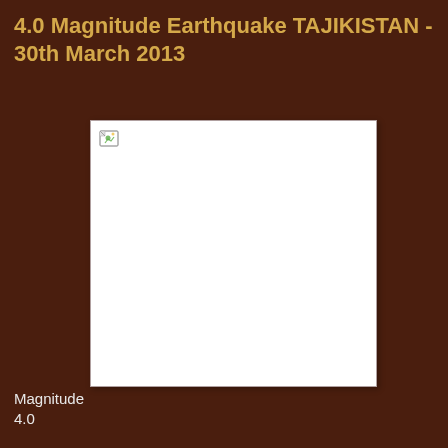4.0 Magnitude Earthquake TAJIKISTAN - 30th March 2013
[Figure (map): Map image placeholder (broken/missing image) showing earthquake location in Tajikistan]
Magnitude
4.0